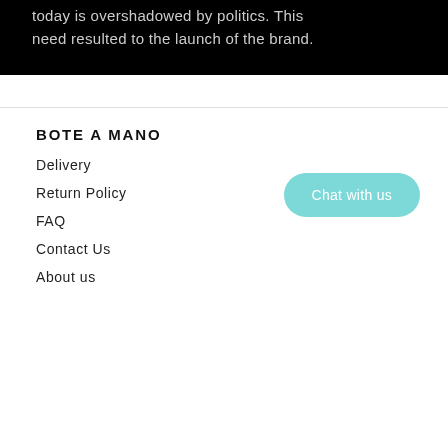today is overshadowed by politics. This need resulted to the launch of the brand.
BOTE A MANO
Delivery
Return Policy
FAQ
Contact Us
About us
Chat with us